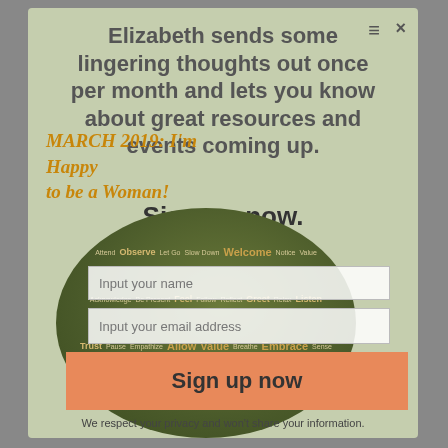Elizabeth sends some lingering thoughts out once per month and lets you know about great resources and events coming up.
MARCH 2019: I'm Happy to be a Woman!
Sign up now.
[Figure (illustration): Circular word cloud illustration with mindfulness/wellness words like Welcome, Notice, Listen, Trust, Feel, Observe, Value, Accept, Appreciate, Allow, Breathe, Reflect, Greet, Invite, Receive, Embrace, etc. on a dark olive green background.]
Input your name
Input your email address
Sign up now
We respect your privacy and won't share your information.
RESET